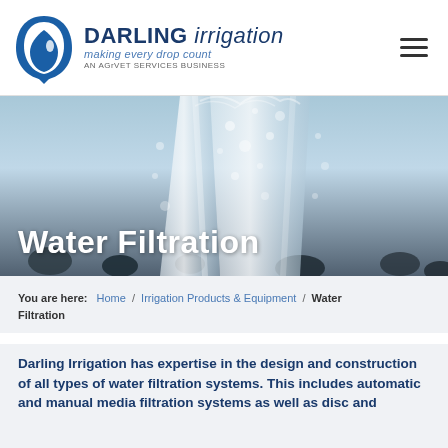[Figure (logo): Darling Irrigation logo with circular blue drop icon, bold text 'DARLING irrigation', tagline 'making every drop count', subtext 'AN AGrVET SERVICES BUSINESS']
[Figure (photo): Close-up photo of a glass of water with bubbles and water droplets, blue-gray toned background]
Water Filtration
You are here: Home / Irrigation Products & Equipment / Water Filtration
Darling Irrigation has expertise in the design and construction of all types of water filtration systems. This includes automatic and manual media filtration systems as well as disc and